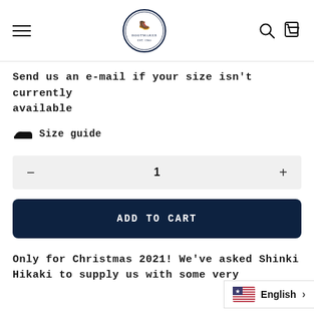Navigation bar with hamburger menu, logo, search and cart icons
Send us an e-mail if your size isn't currently available
🥾 Size guide
1
ADD TO CART
Only for Christmas 2021! We've asked Shinki Hikaki to supply us with some very
English >